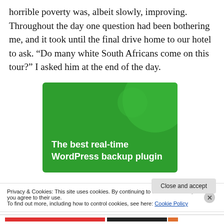horrible poverty was, albeit slowly, improving. Throughout the day one question had been bothering me, and it took until the final drive home to our hotel to ask. “Do many white South Africans come on this tour?” I asked him at the end of the day.
[Figure (other): Green advertisement banner with text 'The best real-time WordPress backup plugin' in white bold text on a green background with decorative circles.]
Privacy & Cookies: This site uses cookies. By continuing to use this website, you agree to their use.
To find out more, including how to control cookies, see here: Cookie Policy
Close and accept